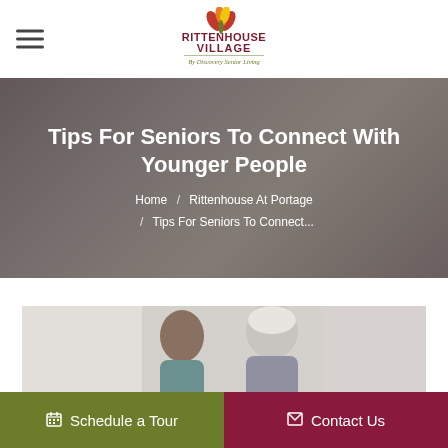[Figure (logo): Rittenhouse Village By Discovery Senior Living logo with leaf/flower icon in red, orange, yellow and green, text in dark red and olive green]
Tips For Seniors To Connect With Younger People
Home / Rittenhouse At Portage / Tips For Seniors To Connect...
[Figure (photo): Photo of a young woman and an elderly person with white hair, looking down together, light background]
📅 Schedule a Tour
✉ Contact Us